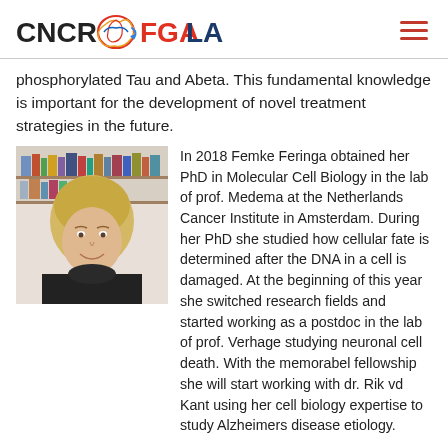CNCR FGALAB
phosphorylated Tau and Abeta. This fundamental knowledge is important for the development of novel treatment strategies in the future.
[Figure (photo): Portrait photo of Femke Feringa, a blonde woman wearing a black turtleneck, smiling, with bookshelves in the background.]
In 2018 Femke Feringa obtained her PhD in Molecular Cell Biology in the lab of prof. Medema at the Netherlands Cancer Institute in Amsterdam. During her PhD she studied how cellular fate is determined after the DNA in a cell is damaged. At the beginning of this year she switched research fields and started working as a postdoc in the lab of prof. Verhage studying neuronal cell death. With the memorabel fellowship she will start working with dr. Rik vd Kant using her cell biology expertise to study Alzheimers disease etiology.